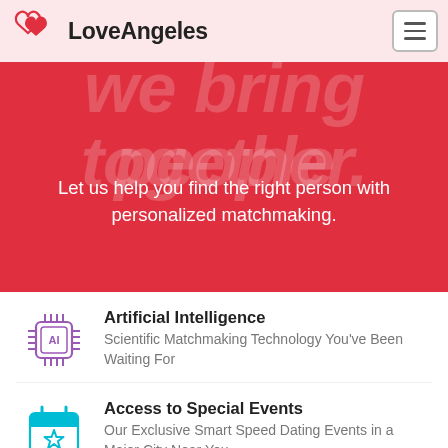LoveAngeles
We bring people together.
Let us help you find the right person with personalized matchmaking.
[Figure (illustration): AI chip icon in purple]
Artificial Intelligence
Scientific Matchmaking Technology You've Been Waiting For
[Figure (illustration): Calendar with star icon in teal]
Access to Special Events
Our Exclusive Smart Speed Dating Events in a Major City Near You
[Figure (illustration): Privacy shield icon in blue]
Protect Your Privacy